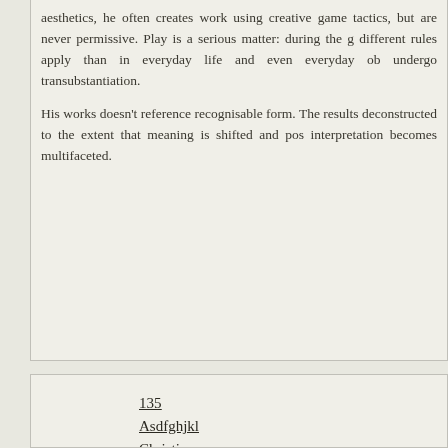aesthetics, he often creates work using creative game tactics, but are never permissive. Play is a serious matter: during the g different rules apply than in everyday life and even everyday ob undergo transubstantiation.
His works doesn't reference recognisable form. The results deconstructed to the extent that meaning is shifted and pos interpretation becomes multifaceted.
135
Asdfghjkl
Christina
Fukyou